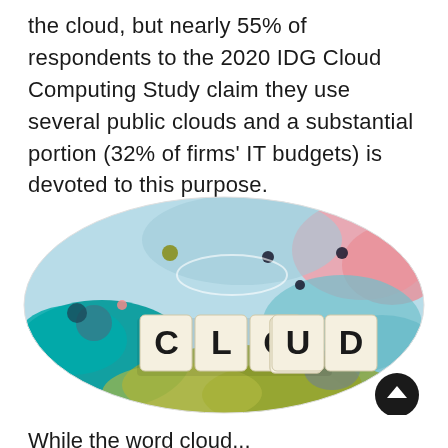the cloud, but nearly 55% of respondents to the 2020 IDG Cloud Computing Study claim they use several public clouds and a substantial portion (32% of firms' IT budgets) is devoted to this purpose.
[Figure (photo): An oval-shaped colorful world map illustration with Scrabble-style letter tiles spelling 'CLOUD' arranged in the center foreground. The map has pastel colors including teal, pink, light blue, olive green, and grey. Small dark dots are scattered across the top portion of the image. A dark circular scroll-up button is visible in the bottom right corner.]
While the word cloud...